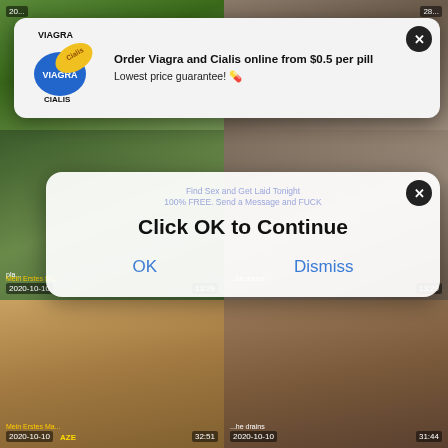[Figure (screenshot): Screenshot of adult video website with pop-up advertisements overlaid on top of video thumbnails]
VIAGRA
CIALIS
Order Viagra and Cialis online from $0.5 per pill
Lowest price guarantee! 💊
Find Sex and Get Laid Tonight
100% FREE. Send a Message and FUCK
Click OK to Continue
OK
Dismiss
2020-10-10
Mein Erstes Ma...
13:29
...he drains
2020-10-10
AZE
32:51
2020-10-10
31:44